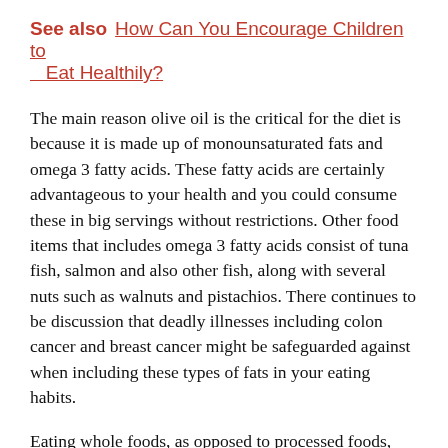See also  How Can You Encourage Children to Eat Healthily?
The main reason olive oil is the critical for the diet is because it is made up of monounsaturated fats and omega 3 fatty acids. These fatty acids are certainly advantageous to your health and you could consume these in big servings without restrictions. Other food items that includes omega 3 fatty acids consist of tuna fish, salmon and also other fish, along with several nuts such as walnuts and pistachios. There continues to be discussion that deadly illnesses including colon cancer and breast cancer might be safeguarded against when including these types of fats in your eating habits.
Eating whole foods, as opposed to processed foods, keeps a lot of chemical compounds and other dangerous non-natural elements from getting into your body and accumulating in your system, ensuring that you continue being healthy. Although this may look like your food choice may be constrained, you shouldn't feel limited or restricted within meal